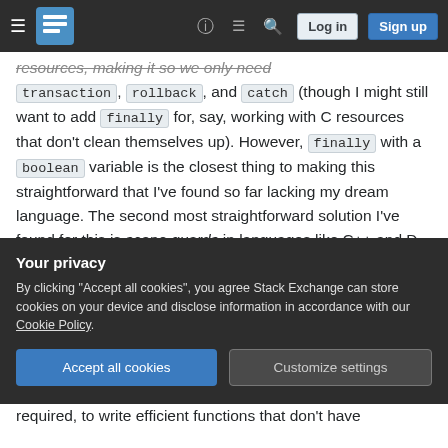Stack Exchange navigation bar with logo, help, chat, search, Log in, Sign up
resources, making it so we only need transaction, rollback, and catch (though I might still want to add finally for, say, working with C resources that don't clean themselves up). However, finally with a boolean variable is the closest thing to making this straightforward that I've found so far lacking my dream language. The second most straightforward solution I've found for this is scope guards in languages like C++ and D, but I always found scope guards a little bit awkward conceptually since it blurs the idea of "resource cleanup" and "side-effect reversal". In my opinion
Your privacy
By clicking "Accept all cookies", you agree Stack Exchange can store cookies on your device and disclose information in accordance with our Cookie Policy.
Accept all cookies  Customize settings
required, to write efficient functions that don't have